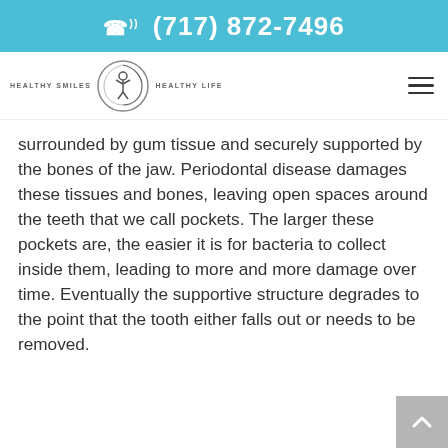(717) 872-7496
[Figure (logo): Healthy Smiles Healthy Life logo with circular emblem and figure icon]
surrounded by gum tissue and securely supported by the bones of the jaw. Periodontal disease damages these tissues and bones, leaving open spaces around the teeth that we call pockets. The larger these pockets are, the easier it is for bacteria to collect inside them, leading to more and more damage over time. Eventually the supportive structure degrades to the point that the tooth either falls out or needs to be removed.